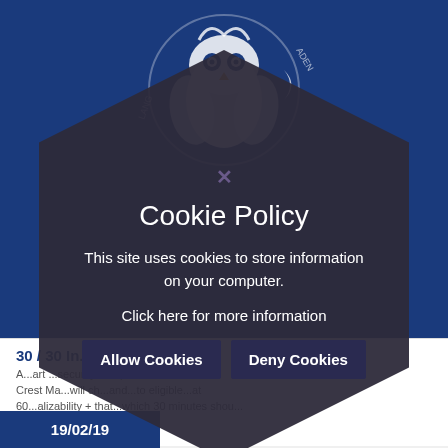[Figure (logo): School/academy logo with owl illustration and circular text reading LANG ACADEMY on a blue background]
30 / 30 In...
A...art ...security in republic ...the... Crest Ma...will ch...and...to eligible...at 60...alizability + that...which 30 minutes shou...
Read Full Story
[Figure (other): Dark hexagon-shaped cookie consent popup overlay]
Cookie Policy
This site uses cookies to store information on your computer.
Click here for more information
Allow Cookies
Deny Cookies
19/02/19